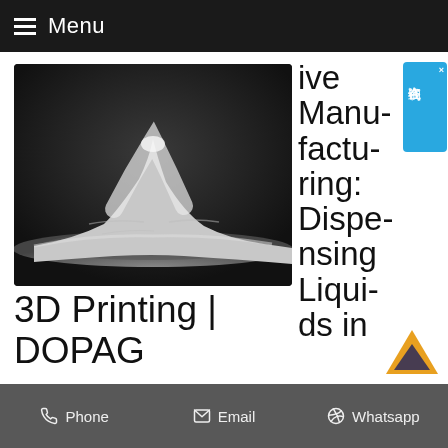Menu
[Figure (photo): A pile of white powder material on a dark background, likely polymer or ceramic powder used in 3D printing / additive manufacturing]
ive Manufacturing: Dispensing Liquids in 3D Printing | DOPAG
[Figure (other): Chinese online consultation chat widget with blue background and × close button, showing 在线咨询 characters]
[Figure (other): Orange upward-pointing chevron/arrow button]
Phone   Email   Whatsapp